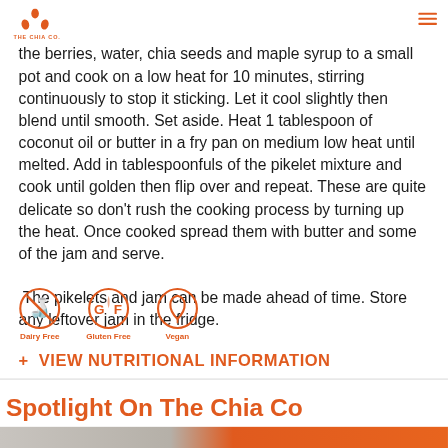The Chia Co logo and navigation menu
the berries, water, chia seeds and maple syrup to a small pot and cook on a low heat for 10 minutes, stirring continuously to stop it sticking. Let it cool slightly then blend until smooth. Set aside. Heat 1 tablespoon of coconut oil or butter in a fry pan on medium low heat until melted. Add in tablespoonfuls of the pikelet mixture and cook until golden then flip over and repeat. These are quite delicate so don't rush the cooking process by turning up the heat. Once cooked spread them with butter and some of the jam and serve.

 The pikelets and jam can be made ahead of time. Store any leftover jam in the fridge.
[Figure (infographic): Three circular dietary icons in orange: Dairy Free, Gluten Free, Vegan]
+ VIEW NUTRITIONAL INFORMATION
Spotlight On The Chia Co
[Figure (photo): Bottom strip image showing chia seeds and orange brand color]